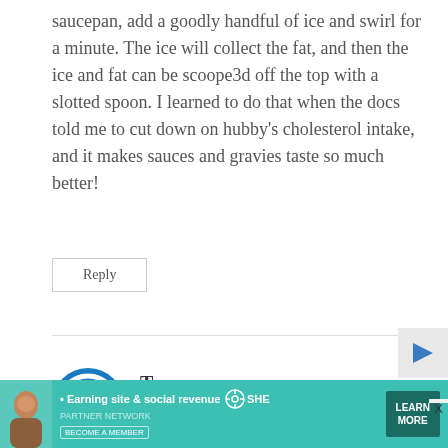saucepan, add a goodly handful of ice and swirl for a minute. The ice will collect the fat, and then the ice and fat can be scoope3d off the top with a slotted spoon. I learned to do that when the docs told me to cut down on hubby's cholesterol intake, and it makes sauces and gravies taste so much better!
Reply
Tammy says: October 30, 2013 at 4:04 pm
Could this be done with chicken parts? Thank you
[Figure (infographic): SHE Media advertisement banner: Earning site & social revenue, SHE PARTNER NETWORK, BECOME A MEMBER, LEARN MORE button]